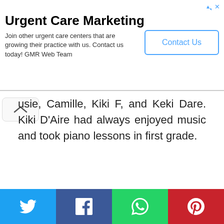[Figure (other): Advertisement banner for Urgent Care Marketing by GMR Web Team, with a 'Contact Us' button]
usie, Camille, Kiki F, and Keki Dare. Kiki D'Aire had always enjoyed music and took piano lessons in first grade.
[Figure (other): Social media sharing bar with Twitter, Facebook, WhatsApp, and Pinterest buttons]